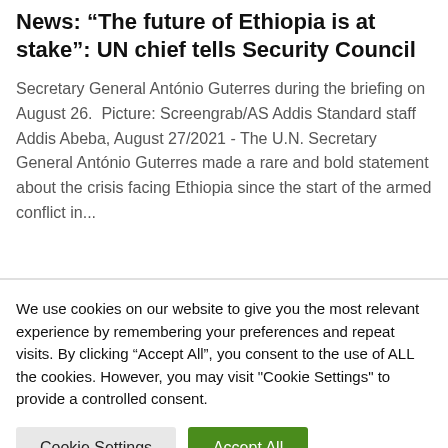News: “The future of Ethiopia is at stake”: UN chief tells Security Council
Secretary General António Guterres during the briefing on August 26.  Picture: Screengrab/AS Addis Standard staff Addis Abeba, August 27/2021 - The U.N. Secretary General António Guterres made a rare and bold statement about the crisis facing Ethiopia since the start of the armed conflict in...
We use cookies on our website to give you the most relevant experience by remembering your preferences and repeat visits. By clicking “Accept All”, you consent to the use of ALL the cookies. However, you may visit "Cookie Settings" to provide a controlled consent.